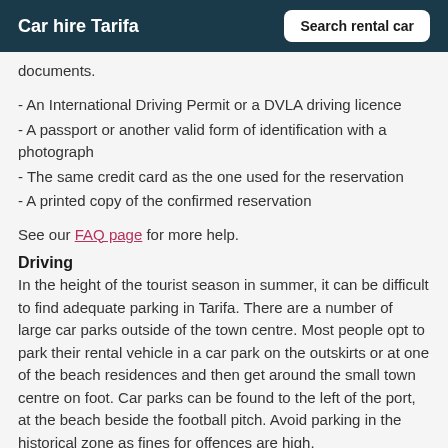Car hire Tarifa  |  Search rental car
documents.
- An International Driving Permit or a DVLA driving licence
- A passport or another valid form of identification with a photograph
- The same credit card as the one used for the reservation
- A printed copy of the confirmed reservation
See our FAQ page for more help.
Driving
In the height of the tourist season in summer, it can be difficult to find adequate parking in Tarifa. There are a number of large car parks outside of the town centre. Most people opt to park their rental vehicle in a car park on the outskirts or at one of the beach residences and then get around the small town centre on foot. Car parks can be found to the left of the port, at the beach beside the football pitch. Avoid parking in the historical zone as fines for offences are high.